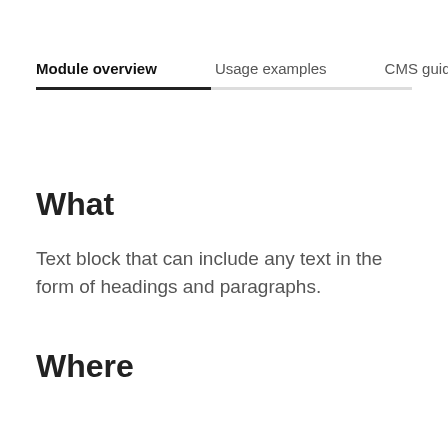Module overview | Usage examples | CMS guid
What
Text block that can include any text in the form of headings and paragraphs.
Where